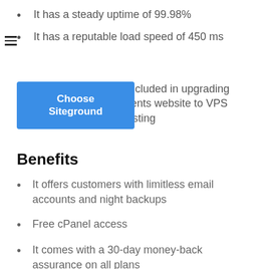It has a steady uptime of 99.98%
It has a reputable load speed of 450 ms
t included in upgrading clients website to VPS hosting
Benefits
It offers customers with limitless email accounts and night backups
Free cPanel access
It comes with a 30-day money-back assurance on all plans
Disadvantages